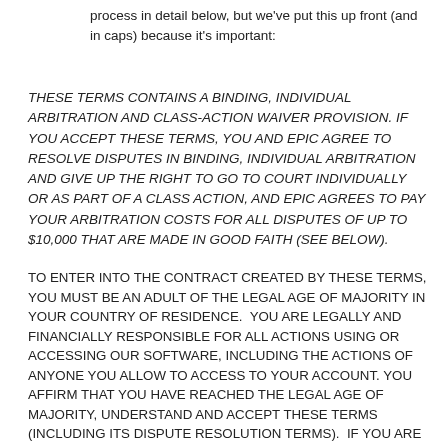process in detail below, but we've put this up front (and in caps) because it's important:
THESE TERMS CONTAINS A BINDING, INDIVIDUAL ARBITRATION AND CLASS-ACTION WAIVER PROVISION. IF YOU ACCEPT THESE TERMS, YOU AND EPIC AGREE TO RESOLVE DISPUTES IN BINDING, INDIVIDUAL ARBITRATION AND GIVE UP THE RIGHT TO GO TO COURT INDIVIDUALLY OR AS PART OF A CLASS ACTION, AND EPIC AGREES TO PAY YOUR ARBITRATION COSTS FOR ALL DISPUTES OF UP TO $10,000 THAT ARE MADE IN GOOD FAITH (SEE BELOW).
TO ENTER INTO THE CONTRACT CREATED BY THESE TERMS, YOU MUST BE AN ADULT OF THE LEGAL AGE OF MAJORITY IN YOUR COUNTRY OF RESIDENCE. YOU ARE LEGALLY AND FINANCIALLY RESPONSIBLE FOR ALL ACTIONS USING OR ACCESSING OUR SOFTWARE, INCLUDING THE ACTIONS OF ANYONE YOU ALLOW TO ACCESS TO YOUR ACCOUNT. YOU AFFIRM THAT YOU HAVE REACHED THE LEGAL AGE OF MAJORITY, UNDERSTAND AND ACCEPT THESE TERMS (INCLUDING ITS DISPUTE RESOLUTION TERMS). IF YOU ARE UNDER THE LEGAL AGE OF MAJORITY, YOUR PARENT OR